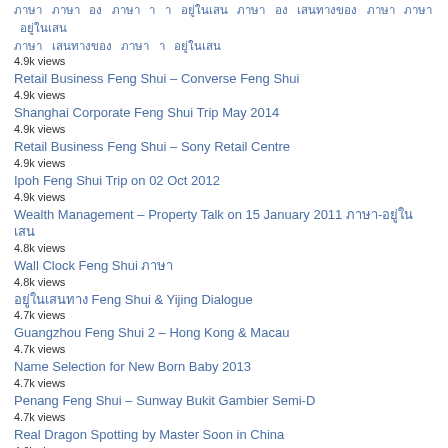8k views
ภาษา ภาษา อง ภาษา า า อยู่ในเสน ภาษา อง เสนทางของ ภาษา ภาษา อยู่ในเสน ภาษา อยู่ในเสน ภาษา า อยู่ในเสน 4.9k views
Retail Business Feng Shui – Converse Feng Shui
4.9k views
Shanghai Corporate Feng Shui Trip May 2014
4.9k views
Retail Business Feng Shui – Sony Retail Centre
4.9k views
Ipoh Feng Shui Trip on 02 Oct 2012
4.9k views
Wealth Management – Property Talk on 15 January 2011 ภาษา-อยู่ในเสน
4.8k views
Wall Clock Feng Shui ภาษา
4.8k views
อยู่ในเสนทาง Feng Shui & Yijing Dialogue
4.7k views
Guangzhou Feng Shui 2 – Hong Kong & Macau
4.7k views
Name Selection for New Born Baby 2013
4.7k views
Penang Feng Shui – Sunway Bukit Gambier Semi-D
4.7k views
Real Dragon Spotting by Master Soon in China
4.6k views
REAL Water Dragon Enhancement
4.5k views